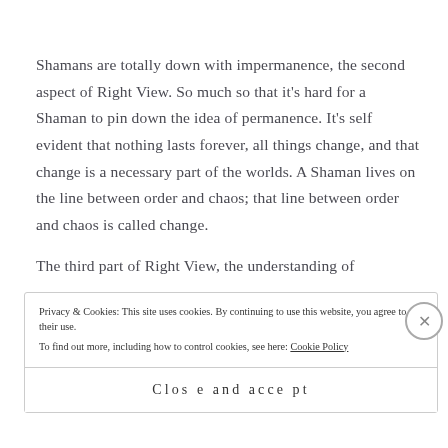Shamans are totally down with impermanence, the second aspect of Right View. So much so that it's hard for a Shaman to pin down the idea of permanence. It's self evident that nothing lasts forever, all things change, and that change is a necessary part of the worlds. A Shaman lives on the line between order and chaos; that line between order and chaos is called change.
The third part of Right View, the understanding of
Privacy & Cookies: This site uses cookies. By continuing to use this website, you agree to their use.
To find out more, including how to control cookies, see here: Cookie Policy
Close and accept